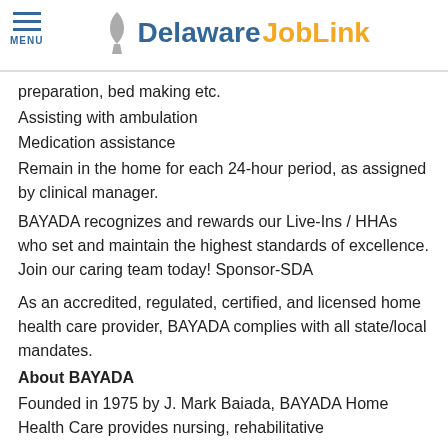MENU | Delaware JobLink
preparation, bed making etc.
Assisting with ambulation
Medication assistance
Remain in the home for each 24-hour period, as assigned by clinical manager.
BAYADA recognizes and rewards our Live-Ins / HHAs who set and maintain the highest standards of excellence. Join our caring team today! Sponsor-SDA
As an accredited, regulated, certified, and licensed home health care provider, BAYADA complies with all state/local mandates.
About BAYADA
Founded in 1975 by J. Mark Baiada, BAYADA Home Health Care provides nursing, rehabilitative